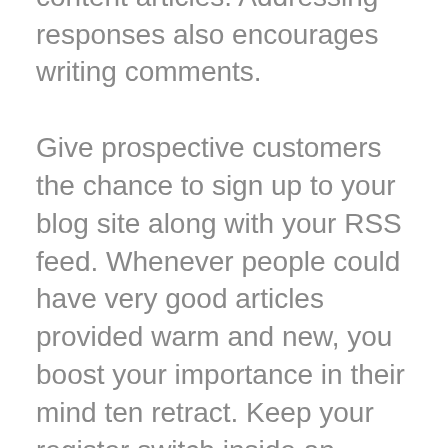perspectives in your blog site content articles. Addressing responses also encourages writing comments.
Give prospective customers the chance to sign up to your blog site along with your RSS feed. Whenever people could have very good articles provided warm and new, you boost your importance in their mind ten retract. Keep your register switch inside an simple to find location and deliver very good content material frequently to dissuade followers from discontinuing.
Make alternative information. Your blog